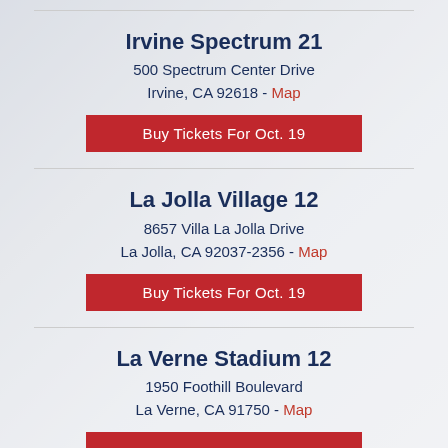Irvine Spectrum 21
500 Spectrum Center Drive
Irvine, CA 92618 - Map
Buy Tickets For Oct. 19
La Jolla Village 12
8657 Villa La Jolla Drive
La Jolla, CA 92037-2356 - Map
Buy Tickets For Oct. 19
La Verne Stadium 12
1950 Foothill Boulevard
La Verne, CA 91750 - Map